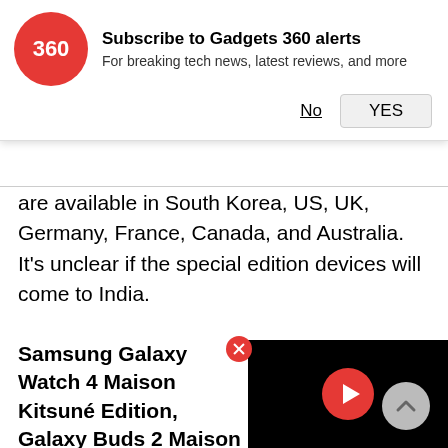[Figure (screenshot): Gadgets 360 subscription notification banner with red circular logo showing '360', bold title 'Subscribe to Gadgets 360 alerts', subtitle 'For breaking tech news, latest reviews, and more', and two buttons: 'No' (underlined) and 'YES' (button)]
are available in South Korea, US, UK, Germany, France, Canada, and Australia. It's unclear if the special edition devices will come to India.
Samsung Galaxy Watch 4 Maison Kitsuné Edition, Galaxy Buds 2 Maison Kitsuné Ed... sale
[Figure (screenshot): Video player overlay showing black background with red circular play button in center]
[Figure (illustration): Scroll to top button, circular grey arrow pointing upward]